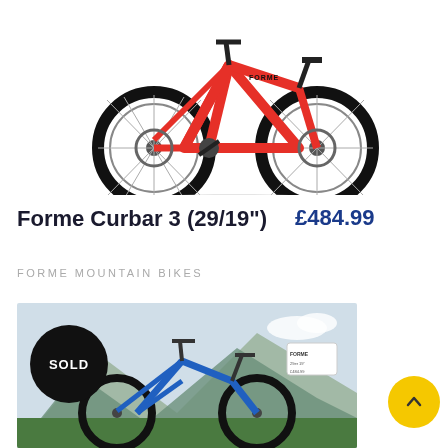[Figure (photo): Red Forme Curbar 3 mountain bike (29/19 inch) photographed against white background, showing full bike profile with black tyres, disc brakes, Shimano gears and red frame.]
Forme Curbar 3 (29/19")
£484.99
FORME MOUNTAIN BIKES
[Figure (photo): Blue mountain bike photographed outdoors against a mountainous landscape background. A black circular badge overlay reads SOLD in white bold text. A yellow circular scroll-to-top button with an upward arrow is visible at the bottom right.]